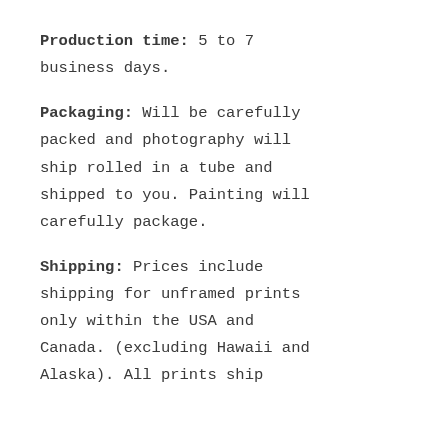Production time: 5 to 7 business days.
Packaging: Will be carefully packed and photography will ship rolled in a tube and shipped to you. Painting will carefully package.
Shipping: Prices include shipping for unframed prints only within the USA and Canada. (excluding Hawaii and Alaska). All prints ship